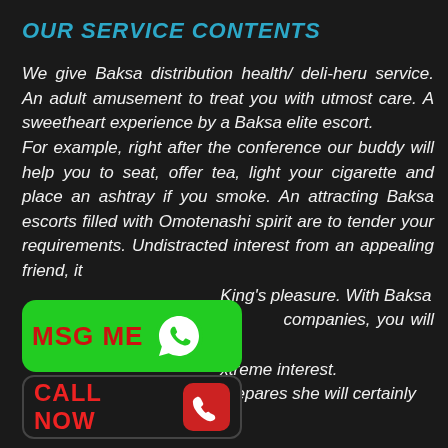OUR SERVICE CONTENTS
We give Baksa distribution health/ deli-heru service. An adult amusement to treat you with utmost care. A sweetheart experience by a Baksa elite escort.
For example, right after the conference our buddy will help you to seat, offer tea, light your cigarette and place an ashtray if you smoke. An attracting Baksa escorts filled with Omotenashi spirit are to tender your requirements. Undistracted interest from an appealing friend, it King's pleasure. With Baksa companies, you will certainly xtreme interest. prepares she will certainly
[Figure (infographic): Green MSG ME button with WhatsApp icon]
[Figure (infographic): Black CALL NOW button with red phone icon]